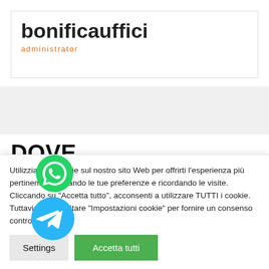bonificauffici
administrator
DOVE
Utilizziamo i cookie sul nostro sito Web per offrirti l'esperienza più pertinente ricordando le tue preferenze e ricordando le visite. Cliccando su "Accetta tutto", acconsenti a utilizzare TUTTI i cookie. Tuttavia, puoi visitare "Impostazioni cookie" per fornire un consenso controllato.
Settings
Accetta tutti